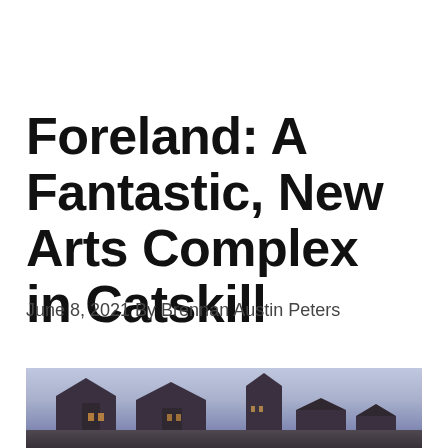Foreland: A Fantastic, New Arts Complex in Catskill
June 8, 2021 By Brennan Austin Peters
[Figure (photo): Exterior photograph of the Foreland arts complex buildings at dusk/twilight, showing barn-like structures with pointed roofs silhouetted against a purple-blue sky.]